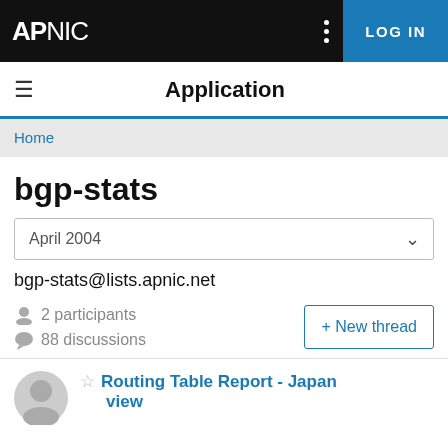APNIC | LOG IN
Application
Home
bgp-stats
April 2004
bgp-stats@lists.apnic.net
2 participants
88 discussions
+ New thread
Routing Table Report - Japan view